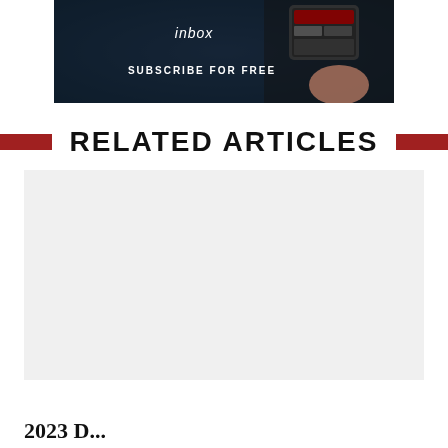[Figure (photo): Promotional banner showing a person holding a phone with text 'inbox' and 'SUBSCRIBE FOR FREE' on a dark background]
RELATED ARTICLES
[Figure (photo): Article thumbnail image placeholder (white/light grey area)]
NEWS
2023 D...